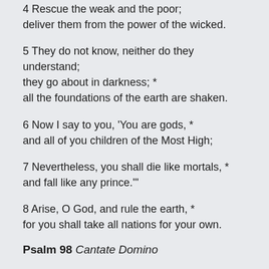4 Rescue the weak and the poor;
deliver them from the power of the wicked.
5 They do not know, neither do they understand;
they go about in darkness; *
all the foundations of the earth are shaken.
6 Now I say to you, 'You are gods, *
and all of you children of the Most High;
7 Nevertheless, you shall die like mortals, *
and fall like any prince.'"
8 Arise, O God, and rule the earth, *
for you shall take all nations for your own.
Psalm 98 Cantate Domino
1 Sing to the Lord a new song, *